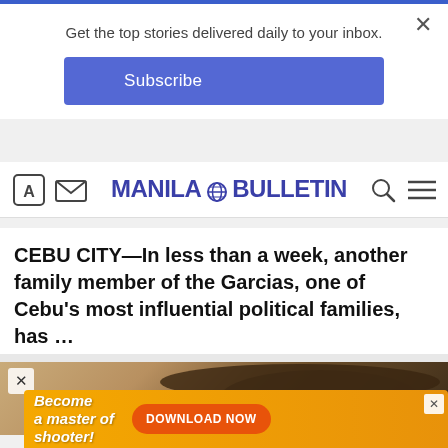Get the top stories delivered daily to your inbox.
Subscribe
[Figure (screenshot): Manila Bulletin website header with navigation icons, globe logo, search icon, and hamburger menu]
CEBU CITY—In less than a week, another family member of the Garcias, one of Cebu's most influential political families, has …
Manila Bulletin
[Figure (photo): News article thumbnail showing a person wearing a hat against a stone wall background, with a close (X) button overlay]
[Figure (screenshot): Advertisement banner with orange background reading 'Become a master of shooter!' with a DOWNLOAD NOW button and mobile game graphics]